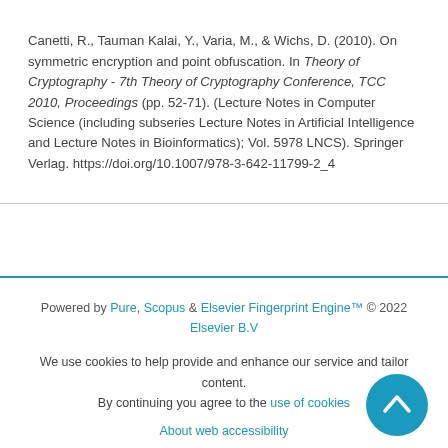Canetti, R., Tauman Kalai, Y., Varia, M., & Wichs, D. (2010). On symmetric encryption and point obfuscation. In Theory of Cryptography - 7th Theory of Cryptography Conference, TCC 2010, Proceedings (pp. 52-71). (Lecture Notes in Computer Science (including subseries Lecture Notes in Artificial Intelligence and Lecture Notes in Bioinformatics); Vol. 5978 LNCS). Springer Verlag. https://doi.org/10.1007/978-3-642-11799-2_4
Powered by Pure, Scopus & Elsevier Fingerprint Engine™ © 2022 Elsevier B.V
We use cookies to help provide and enhance our service and tailor content. By continuing you agree to the use of cookies
About web accessibility